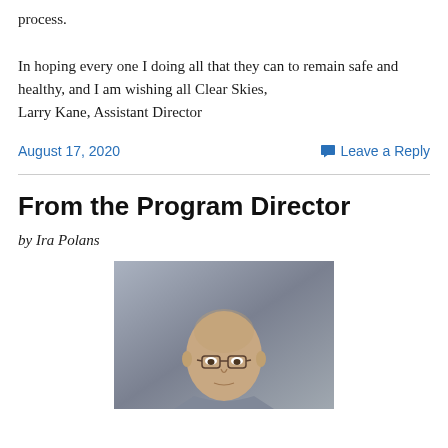process.

In hoping every one I doing all that they can to remain safe and healthy, and I am wishing all Clear Skies,
Larry Kane, Assistant Director
August 17, 2020
Leave a Reply
From the Program Director
by Ira Polans
[Figure (photo): Headshot photograph of a bald man wearing glasses, with a grey/blue textured background]